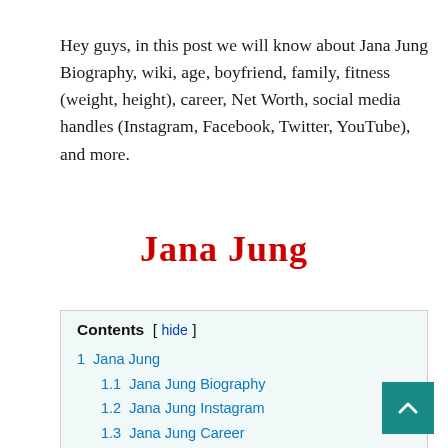Hey guys, in this post we will know about Jana Jung Biography, wiki, age, boyfriend, family, fitness (weight, height), career, Net Worth, social media handles (Instagram, Facebook, Twitter, YouTube), and more.
Jana Jung
| 1  Jana Jung |
| 1.1  Jana Jung Biography |
| 1.2  Jana Jung Instagram |
| 1.3  Jana Jung Career |
| 1.4  Jana Jung Boyfriend |